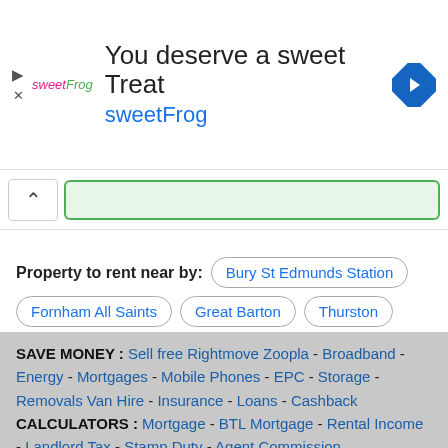[Figure (infographic): Advertisement banner for sweetFrog with text 'You deserve a sweet Treat' and 'sweetFrog', navigation arrow icon on right, ad disclosure icons on left]
[Figure (screenshot): Search bar area with up/collapse chevron button and green-bordered input field]
Property to rent near by: Bury St Edmunds Station Fornham All Saints Great Barton Thurston
SAVE MONEY : Sell free Rightmove Zoopla - Broadband - Energy - Mortgages - Mobile Phones - EPC - Storage - Removals Van Hire - Insurance - Loans - Cashback CALCULATORS : Mortgage - BTL Mortgage - Rental Income - Landlord Tax - Stamp Duty - Agent Commission PAGES : Contact - Privacy - Homes By Email - Agents ©2003-2022 Houseladder